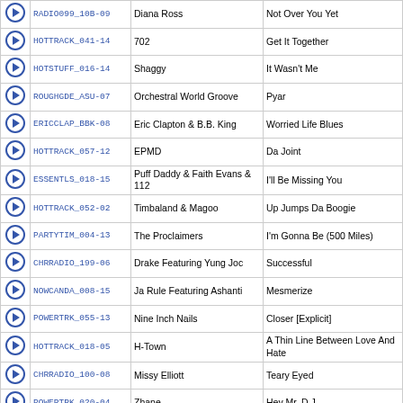|  | Code | Artist | Title |
| --- | --- | --- | --- |
| ▶ | RADIO099_10B-09 | Diana Ross | Not Over You Yet |
| ▶ | HOTTRACK_041-14 | 702 | Get It Together |
| ▶ | HOTSTUFF_016-14 | Shaggy | It Wasn't Me |
| ▶ | ROUGHGDE_ASU-07 | Orchestral World Groove | Pyar |
| ▶ | ERICCLAP_BBK-08 | Eric Clapton & B.B. King | Worried Life Blues |
| ▶ | HOTTRACK_057-12 | EPMD | Da Joint |
| ▶ | ESSENTLS_018-15 | Puff Daddy & Faith Evans & 112 | I'll Be Missing You |
| ▶ | HOTTRACK_052-02 | Timbaland & Magoo | Up Jumps Da Boogie |
| ▶ | PARTYTIM_004-13 | The Proclaimers | I'm Gonna Be (500 Miles) |
| ▶ | CHRRADIO_199-06 | Drake Featuring Yung Joc | Successful |
| ▶ | NOWCANDA_008-15 | Ja Rule Featuring Ashanti | Mesmerize |
| ▶ | POWERTRK_055-13 | Nine Inch Nails | Closer [Explicit] |
| ▶ | HOTTRACK_018-05 | H-Town | A Thin Line Between Love And Hate |
| ▶ | CHRRADIO_100-08 | Missy Elliott | Teary Eyed |
| ▶ | POWERTRK_020-04 | Zhane | Hey Mr. D.J. |
| ▶ | CHRRADIO_091-11 | Mario | How Could You |
| ▶ | RADIO098_05A-04 | Brandy & Monica | The Boy Is Mine |
| ▶ | HOTTRACK_040-14 | Montell Jordan | What's on Tonight |
| ▶ | DEFJAM___G1A-11 | 3rd Bass | The Gas Face |